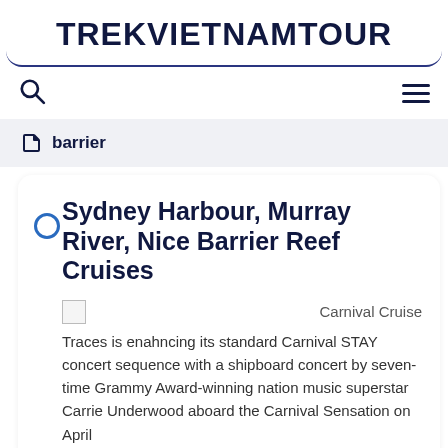TREKVIETNAMTOUR
barrier
Sydney Harbour, Murray River, Nice Barrier Reef Cruises
Carnival Cruise
Traces is enahncing its standard Carnival STAY concert sequence with a shipboard concert by seven-time Grammy Award-winning nation music superstar Carrie Underwood aboard the Carnival Sensation on April